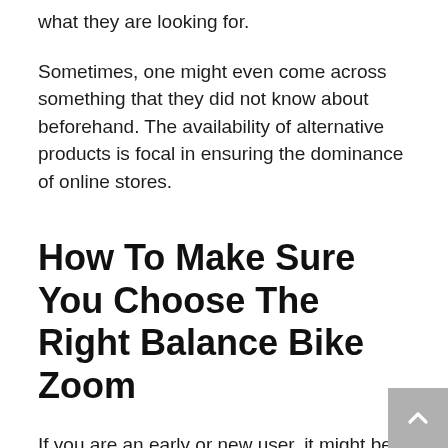what they are looking for.
Sometimes, one might even come across something that they did not know about beforehand. The availability of alternative products is focal in ensuring the dominance of online stores.
How To Make Sure You Choose The Right Balance Bike Zoom
If you are an early or new user, it might be difficult for you to find the proper balance bike zoom. You might be unaware of certain facets of the balance bike zoom that you might have been thinking about. But we are